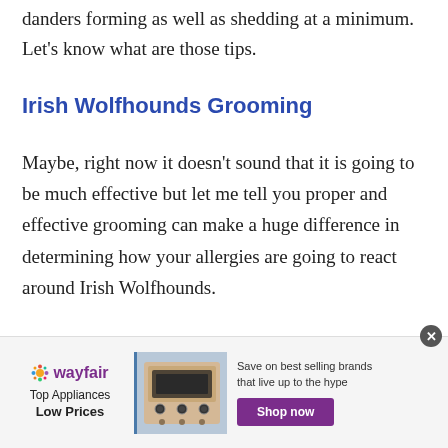danders forming as well as shedding at a minimum. Let's know what are those tips.
Irish Wolfhounds Grooming
Maybe, right now it doesn't sound that it is going to be much effective but let me tell you proper and effective grooming can make a huge difference in determining how your allergies are going to react around Irish Wolfhounds.
[Figure (other): Wayfair advertisement banner with logo, 'Top Appliances Low Prices' tagline, appliance image, 'Save on best selling brands that live up to the hype' text, and 'Shop now' purple button]